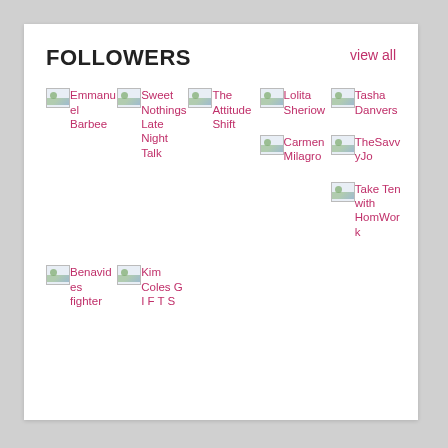FOLLOWERS
view all
Emmanuel Barbee
Sweet Nothings Late Night Talk
The Attitude Shift
Lolita Sheriow
Tasha Danvers
Carmen Milagro
TheSavvyJo
Take Ten with HomWork
Benavides fighter
Kim Coles G I F T S